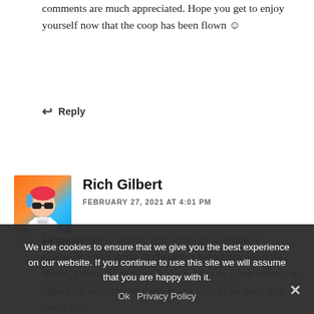comments are much appreciated. Hope you get to enjoy yourself now that the coop has been flown ☺
↩ Reply
Rich Gilbert
FEBRUARY 27, 2021 AT 4:01 PM
I haven't been to Berlin. This write-up on hotels is defintiely a nice guide to check out before anyone goes Berlin, Germany. Staying in the penthouse is not always an option for us. Some of these hotels look to be quite nice. I really like hotels have views like the one you show here.
↩ Reply
We use cookies to ensure that we give you the best experience on our website. If you continue to use this site we will assume that you are happy with it. Ok Privacy Policy